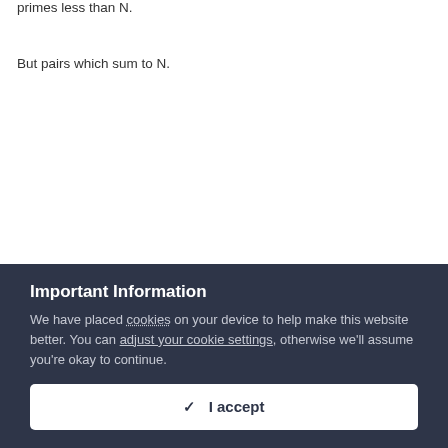primes less than N.
But pairs which sum to N.
Important Information
We have placed cookies on your device to help make this website better. You can adjust your cookie settings, otherwise we'll assume you're okay to continue.
✓ I accept